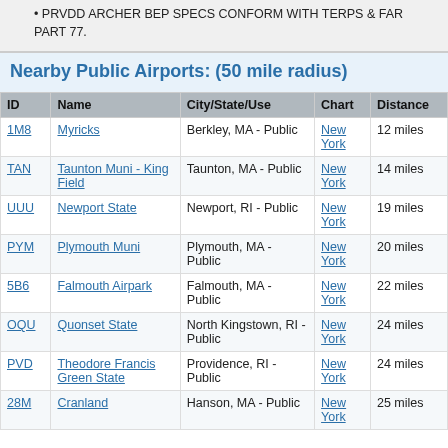PRVDD ARCHER BEP SPECS CONFORM WITH TERPS & FAR PART 77.
Nearby Public Airports: (50 mile radius)
| ID | Name | City/State/Use | Chart | Distance |
| --- | --- | --- | --- | --- |
| 1M8 | Myricks | Berkley, MA - Public | New York | 12 miles |
| TAN | Taunton Muni - King Field | Taunton, MA - Public | New York | 14 miles |
| UUU | Newport State | Newport, RI - Public | New York | 19 miles |
| PYM | Plymouth Muni | Plymouth, MA - Public | New York | 20 miles |
| 5B6 | Falmouth Airpark | Falmouth, MA - Public | New York | 22 miles |
| OQU | Quonset State | North Kingstown, RI - Public | New York | 24 miles |
| PVD | Theodore Francis Green State | Providence, RI - Public | New York | 24 miles |
| 28M | Cranland | Hanson, MA - Public | New York | 25 miles |